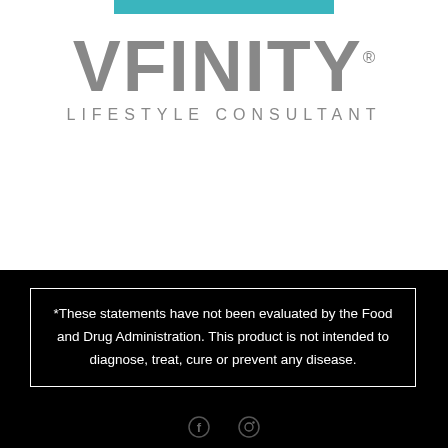[Figure (logo): Vfinity Lifestyle Consultant logo with teal top bar and grey text]
*These statements have not been evaluated by the Food and Drug Administration. This product is not intended to diagnose, treat, cure or prevent any disease.